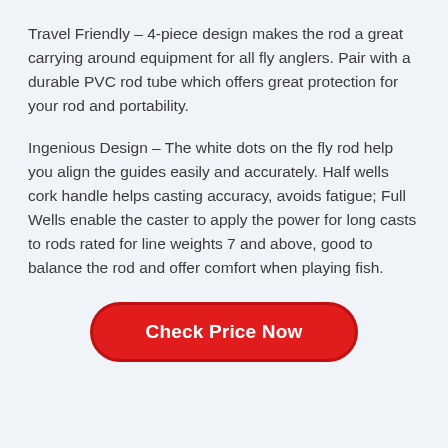Travel Friendly – 4-piece design makes the rod a great carrying around equipment for all fly anglers. Pair with a durable PVC rod tube which offers great protection for your rod and portability.
Ingenious Design – The white dots on the fly rod help you align the guides easily and accurately. Half wells cork handle helps casting accuracy, avoids fatigue; Full Wells enable the caster to apply the power for long casts to rods rated for line weights 7 and above, good to balance the rod and offer comfort when playing fish.
Check Price Now